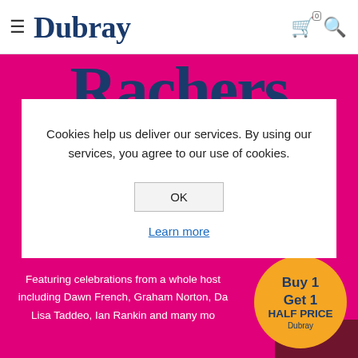≡  Dubray
[Figure (screenshot): Dubray Books website screenshot showing a book cover with pink/magenta background and 'Rachers' title text in dark blue, with a cookie consent modal dialog overlaid in the center, and a 'Buy 1 Get 1 HALF PRICE' promotional badge in the bottom right corner.]
Cookies help us deliver our services. By using our services, you agree to our use of cookies.
OK
Learn more
Featuring celebrations from a whole host including Dawn French, Graham Norton, Da Lisa Taddeo, Ian Rankin and many mo
Buy 1
Get 1
HALF PRICE
Dubray